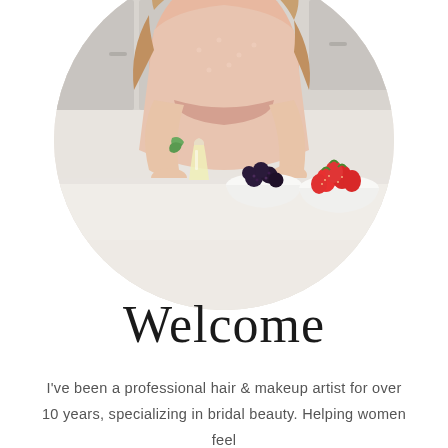[Figure (photo): A woman in a light pink polka-dot dress standing at a white kitchen counter with fruits including strawberries and blackberries in white bowls, and a glass of lemonade with mint. The photo is cropped into a circular shape.]
Welcome
I've been a professional hair & makeup artist for over 10 years, specializing in bridal beauty. Helping women feel